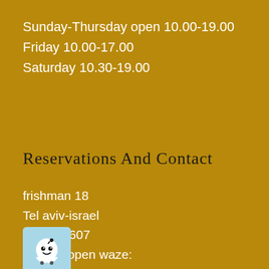Sunday-Thursday open 10.00-19.00
Friday 10.00-17.00
Saturday 10.30-19.00
Reservations And Contact
frishman 18
Tel aviv-israel
03-7267607
Click to open waze:
[Figure (logo): Waze navigation app logo icon on light blue background]